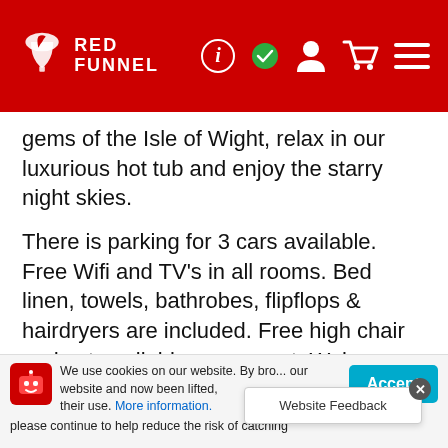[Figure (logo): Red Funnel logo with funnel icon and navigation icons (info, checkmark, person, cart, menu) on red header bar]
gems of the Isle of Wight, relax in our luxurious hot tub and enjoy the starry night skies.
There is parking for 3 cars available. Free Wifi and TV's in all rooms. Bed linen, towels, bathrobes, flipflops & hairdryers are included. Free high chair and cot available on request. Welcome pack on arrival. Sorry no pets accepted. Children of all ages welcome.
This superb luxurious apartment is the perfect escape for you and your family for your next holiday adventure on the Isle of Wight.
We use cookies on our website. By browsing our website and now been lifted, their use. More information. please continue to help reduce the risk of catching